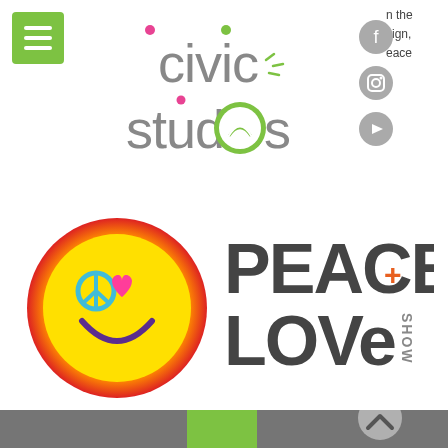[Figure (logo): Civic Studios logo with rainbow monitor icon and colorful dot accents]
[Figure (logo): Peace + Love Show logo with smiley face emoji featuring peace sign and heart eyes]
[Figure (logo): Civic Studios footer/banner area showing dark gray background with green rectangle and white rainbow monitor icon]